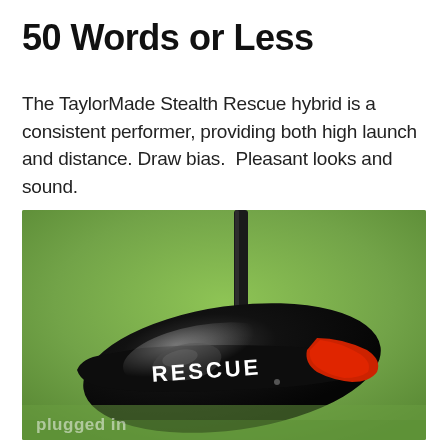50 Words or Less
The TaylorMade Stealth Rescue hybrid is a consistent performer, providing both high launch and distance. Draw bias.  Pleasant looks and sound.
[Figure (photo): TaylorMade Stealth Rescue hybrid golf club head viewed from above, black glossy head with red accent stripe and white RESCUE lettering, photographed on green grass. Watermark reads 'plugged in' in bottom left corner.]